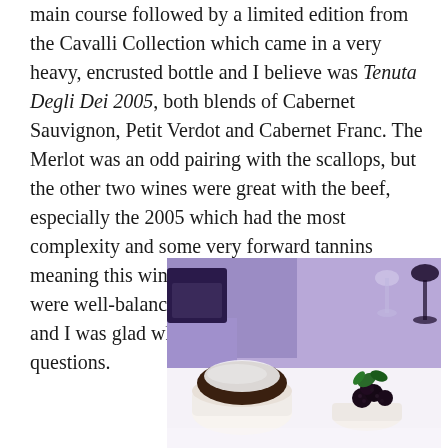main course followed by a limited edition from the Cavalli Collection which came in a very heavy, encrusted bottle and I believe was Tenuta Degli Dei 2005, both blends of Cabernet Sauvignon, Petit Verdot and Cabernet Franc. The Merlot was an odd pairing with the scallops, but the other two wines were great with the beef, especially the 2005 which had the most complexity and some very forward tannins meaning this wine will probably improve. All were well-balanced wines, with layers of flavour and I was glad when Tomassi joined our table for questions.
[Figure (photo): Photo showing two dessert dishes on a table with purple tablecloth and glassware — a chocolate soufflé dusted with powdered sugar on the left and a small dessert with blackberries and mint on the right.]